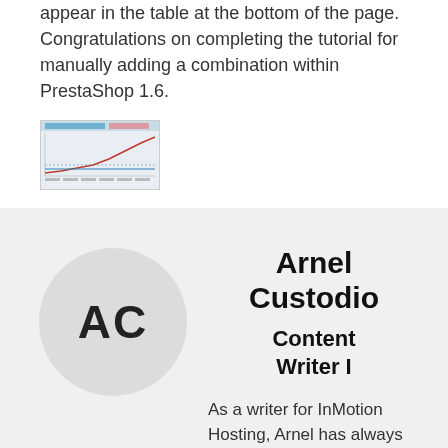appear in the table at the bottom of the page. Congratulations on completing the tutorial for manually adding a combination within PrestaShop 1.6.
[Figure (screenshot): Small thumbnail screenshot of a table or chart from PrestaShop interface]
Arnel Custodio
Content Writer I
As a writer for InMotion Hosting, Arnel has always